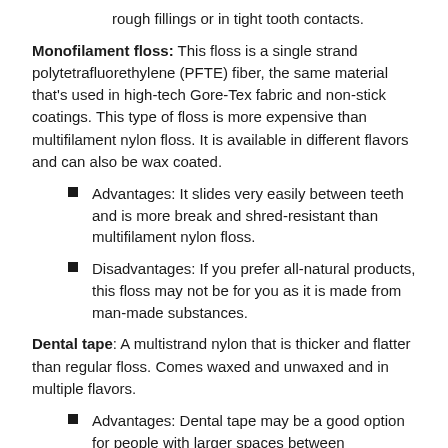rough fillings or in tight tooth contacts.
Monofilament floss: This floss is a single strand polytetrafluorethylene (PFTE) fiber, the same material that's used in high-tech Gore-Tex fabric and non-stick coatings. This type of floss is more expensive than multifilament nylon floss. It is available in different flavors and can also be wax coated.
Advantages: It slides very easily between teeth and is more break and shred-resistant than multifilament nylon floss.
Disadvantages: If you prefer all-natural products, this floss may not be for you as it is made from man-made substances.
Dental tape: A multistrand nylon that is thicker and flatter than regular floss. Comes waxed and unwaxed and in multiple flavors.
Advantages: Dental tape may be a good option for people with larger spaces between